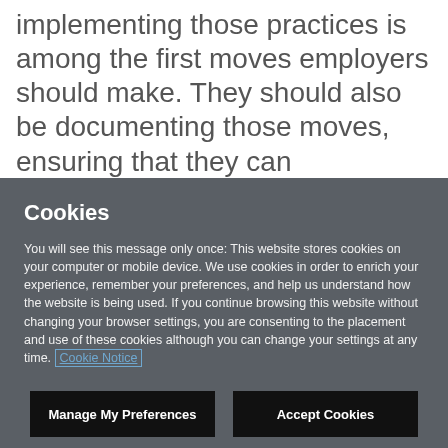implementing those practices is among the first moves employers should make. They should also be documenting those moves, ensuring that they can demonstrate what’s been
Cookies
You will see this message only once: This website stores cookies on your computer or mobile device. We use cookies in order to enrich your experience, remember your preferences, and help us understand how the website is being used. If you continue browsing this website without changing your browser settings, you are consenting to the placement and use of these cookies although you can change your settings at any time. Cookie Notice
Manage My Preferences
Accept Cookies